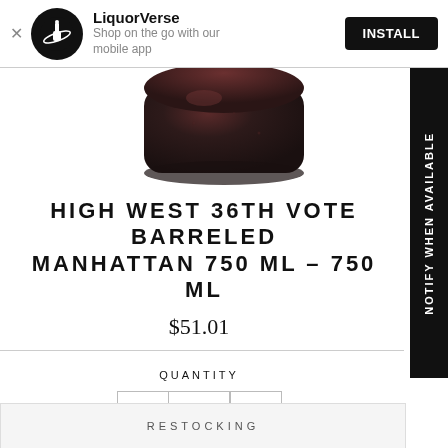LiquorVerse — Shop on the go with our mobile app — INSTALL
[Figure (photo): Bottom portion of a dark amber/brown glass bottle or jar against white background]
HIGH WEST 36TH VOTE BARRELED MANHATTAN 750 ML – 750 ML
$51.01
QUANTITY
1
RESTOCKING